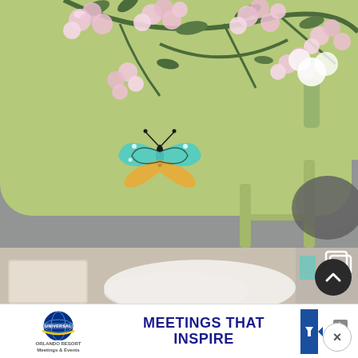[Figure (photo): Close-up photo of a light green side table with pink cherry blossom / floral transfer decal and a colorful butterfly decal on the surface. Table legs visible, with white flowers and a blurred cat or animal in the background on a gray floor.]
[Figure (photo): Blurred interior bedroom or living room photo showing a beige/cream box on the left, white fabric/bedding in center, and blurred shelving with teal accents on the right. A gallery/multi-image icon appears in the top right corner.]
[Figure (infographic): Advertisement banner for Universal Orlando Resort Meetings & Events. Features the Universal globe logo on the left, bold dark blue text reading 'MEETINGS THAT INSPIRE' in the center, a blue arrow/banner graphic on the right, with a play/ad indicator icon and close X button in upper right.]